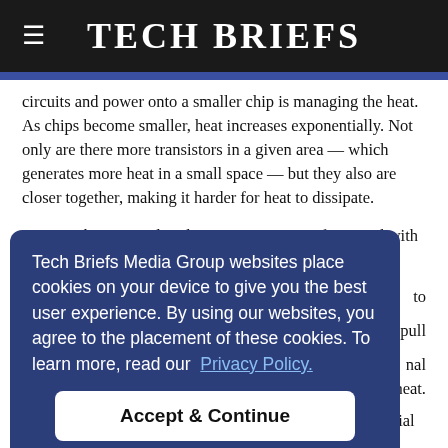Tech Briefs
circuits and power onto a smaller chip is managing the heat. As chips become smaller, heat increases exponentially. Not only are there more transistors in a given area — which generates more heat in a small space — but they also are closer together, making it harder for heat to dissipate.
A research team explored an emerging type of material with the [size.]
[to]
[pull]
[nal] [heat.]
Tech Briefs Media Group websites place cookies on your device to give you the best user experience. By using our websites, you agree to the placement of these cookies. To learn more, read our Privacy Policy.
Scientists have been in search of a low-k dielectric material that